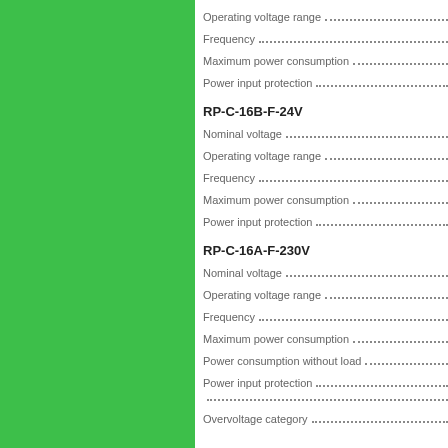Operating voltage range ......................
Frequency ......................
Maximum power consumption ......................
Power input protection ......................
RP-C-16B-F-24V
Nominal voltage ......................
Operating voltage range ......................
Frequency ......................
Maximum power consumption ......................
Power input protection ......................
RP-C-16A-F-230V
Nominal voltage ......................
Operating voltage range ......................
Frequency ......................
Maximum power consumption ......................
Power consumption without load ......................
Power input protection ......................
......................
Overvoltage category ......................